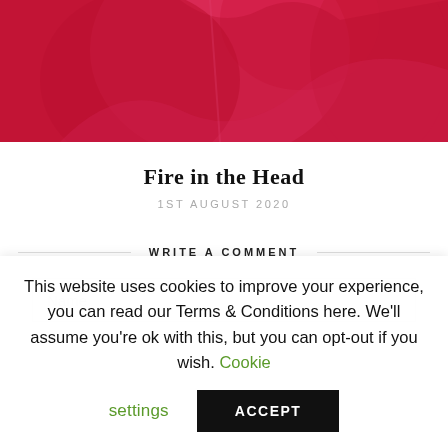[Figure (photo): Partial photo showing a person wearing a red jacket or outfit, cropped at the top of the page.]
Fire in the Head
1ST AUGUST 2020
WRITE A COMMENT
Name
This website uses cookies to improve your experience, you can read our Terms & Conditions here. We'll assume you're ok with this, but you can opt-out if you wish. Cookie settings ACCEPT